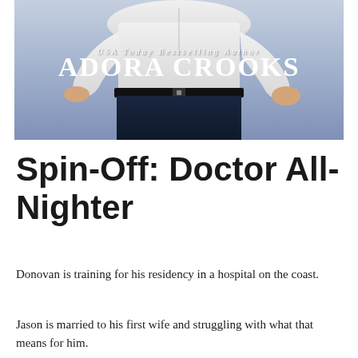[Figure (photo): Book cover image showing a man in a white shirt and dark jeans, cropped to show torso and arms. Blue/purple gradient background. Text overlay reads 'USA Today Bestselling Author' in small italic letters and 'ADORA CROOKS' in large bold white serif font.]
Spin-Off: Doctor All-Nighter
Donovan is training for his residency in a hospital on the coast.
Jason is married to his first wife and struggling with what that means for him.